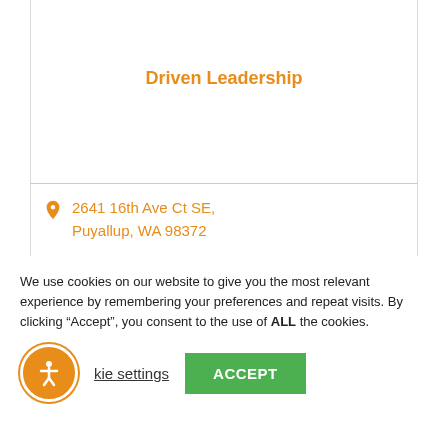Driven Leadership
2641 16th Ave Ct SE, Puyallup, WA 98372
(310) 437-3044
We use cookies on our website to give you the most relevant experience by remembering your preferences and repeat visits. By clicking “Accept”, you consent to the use of ALL the cookies.
kie settings
ACCEPT